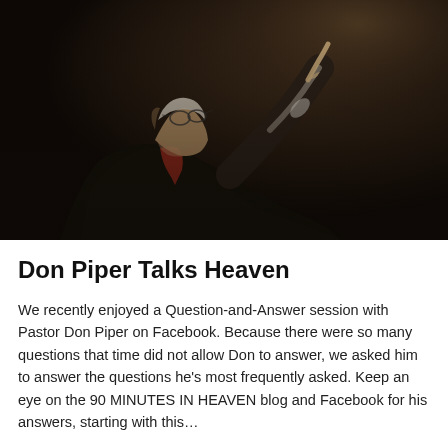[Figure (photo): A silhouetted older man in a dark suit with glasses, pointing upward with one finger against a dark background, photographed from a low angle.]
Don Piper Talks Heaven
We recently enjoyed a Question-and-Answer session with Pastor Don Piper on Facebook. Because there were so many questions that time did not allow Don to answer, we asked him to answer the questions he's most frequently asked. Keep an eye on the 90 MINUTES IN HEAVEN blog and Facebook for his answers, starting with this…